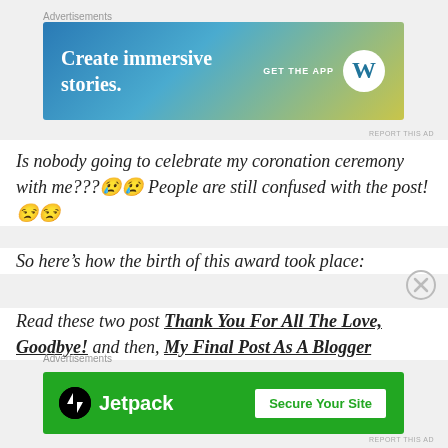Advertisements
[Figure (screenshot): WordPress 'Create immersive stories. GET THE APP' advertisement banner with blue-green gradient and WordPress logo]
REPORT THIS AD
Is nobody going to celebrate my coronation ceremony with me???😢😢 People are still confused with the post!😒😒
So here's how the birth of this award took place:
Read these two post Thank You For All The Love, Goodbye! and then, My Final Post As A Blogger
[Figure (screenshot): Jetpack 'Secure Your Site' advertisement banner with green background]
Advertisements
REPORT THIS AD